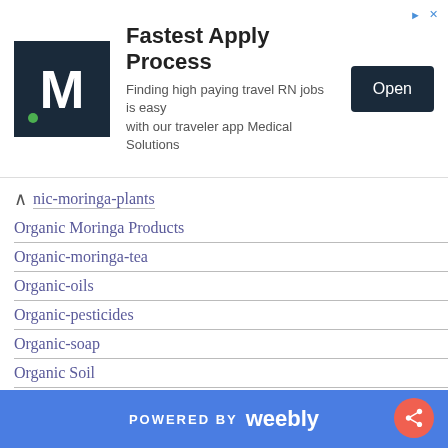[Figure (other): Advertisement banner for Medical Solutions travel RN jobs with M logo, headline 'Fastest Apply Process', subtext 'Finding high paying travel RN jobs is easy with our traveler app Medical Solutions', and an 'Open' button]
nic-moringa-plants
Organic Moringa Products
Organic-moringa-tea
Organic-oils
Organic-pesticides
Organic-soap
Organic Soil
Organic-tea
Organic Trees
Organic-worm-castings
Organinc Moringa Soaps
Outer-nutrition
Overheating
POWERED BY weebly